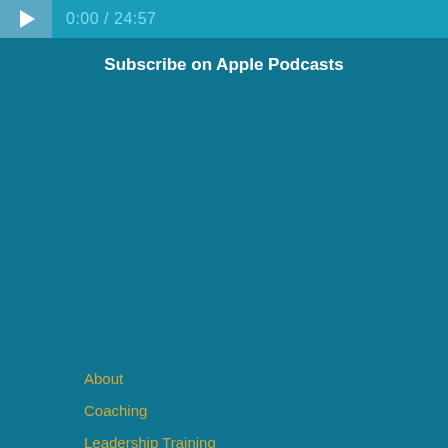[Figure (screenshot): Audio player bar with play button and time display showing 0:00 / 24:57]
Subscribe on Apple Podcasts
About
Coaching
Leadership Training
Speaking
Podcast
Contact
Results
Schedule Your Call